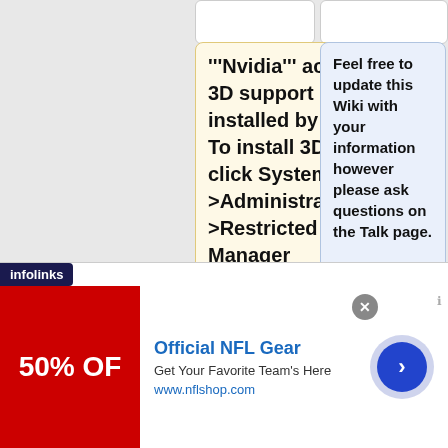'''Nvidia''' accelerated 3D support is not installed by default.  To install 3D support click System->Administration->Restricted Drivers Manager
Feel free to update this Wiki with your information however please ask questions on the Talk page.
The Restricted Drivers Manager
==Installation Notes ==
[Figure (screenshot): Advertisement banner: infolinks bar, NFL Gear ad with red image showing 50% OFF, text 'Official NFL Gear - Get Your Favorite Team's Here - www.nflshop.com', close button, and navigation arrow button]